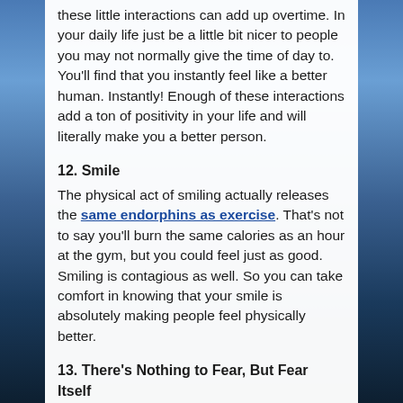these little interactions can add up overtime. In your daily life just be a little bit nicer to people you may not normally give the time of day to. You'll find that you instantly feel like a better human. Instantly! Enough of these interactions add a ton of positivity in your life and will literally make you a better person.
12. Smile
The physical act of smiling actually releases the same endorphins as exercise. That's not to say you'll burn the same calories as an hour at the gym, but you could feel just as good. Smiling is contagious as well. So you can take comfort in knowing that your smile is absolutely making people feel physically better.
13. There's Nothing to Fear, But Fear Itself
Most people never learn this. They fear so many things. Fear is just a feeling that prevents us from doing things. You should have a fear of fear. It